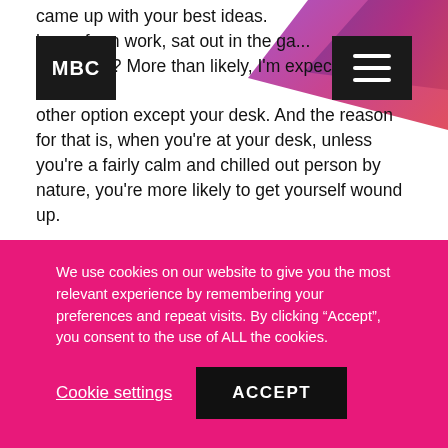[Figure (logo): MBC logo - white text on black square background]
[Figure (other): Hamburger menu icon - three white horizontal lines on black square background]
came up with your best ideas. home from work, sat out in the ga... your desk? More than likely, I'm expecting you to... other option except your desk. And the reason for that is, when you're at your desk, unless you're a fairly calm and chilled out person by nature, you're more likely to get yourself wound up.
In most people's experience, I would say the desk often means distraction. Unless you've got your own office in which you can lock yourself away for some quiet time, there are always interruptions. And those interruptions themselves can become a source of stress if you let them.
We use cookies on our website to give you the most relevant experience by remembering your preferences and repeat visits. By clicking “Accept”, you consent to the use of ALL the cookies.
Cookie settings
ACCEPT